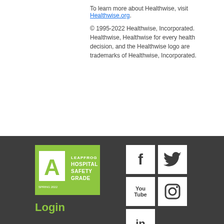To learn more about Healthwise, visit Healthwise.org.
© 1995-2022 Healthwise, Incorporated. Healthwise, Healthwise for every health decision, and the Healthwise logo are trademarks of Healthwise, Incorporated.
[Figure (logo): Leapfrog Hospital Safety Grade badge with green background, large white 'A', and text 'LEAPFROG HOSPITAL SAFETY GRADE SPRING 2022']
Login
[Figure (logo): Facebook social media icon (white square with dark 'f' logo)]
[Figure (logo): Twitter social media icon (white square with dark bird logo)]
[Figure (logo): YouTube social media icon (white square with 'You Tube' text logo)]
[Figure (logo): Instagram social media icon (white square with camera logo)]
[Figure (logo): LinkedIn social media icon (white square with 'in' logo, partially visible)]